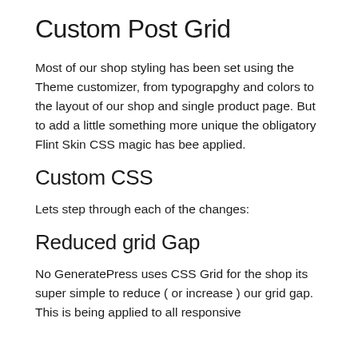Custom Post Grid
Most of our shop styling has been set using the Theme customizer, from typograpghy and colors to the layout of our shop and single product page. But to add a little something more unique the obligatory Flint Skin CSS magic has bee applied.
Custom CSS
Lets step through each of the changes:
Reduced grid Gap
No GeneratePress uses CSS Grid for the shop its super simple to reduce ( or increase ) our grid gap. This is being applied to all responsive